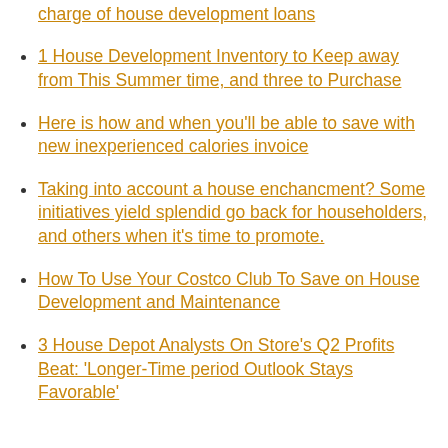Householders in those states take out the very best charge of house development loans
1 House Development Inventory to Keep away from This Summer time, and three to Purchase
Here is how and when you'll be able to save with new inexperienced calories invoice
Taking into account a house enchancment? Some initiatives yield splendid go back for householders, and others when it's time to promote.
How To Use Your Costco Club To Save on House Development and Maintenance
3 House Depot Analysts On Store's Q2 Profits Beat: 'Longer-Time period Outlook Stays Favorable'